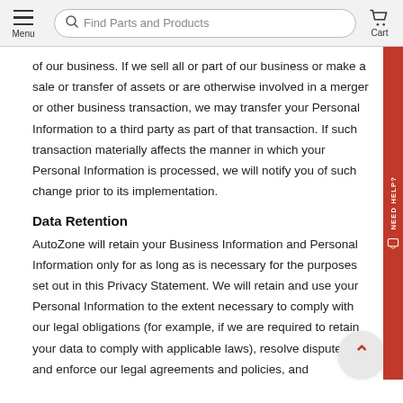Menu | Find Parts and Products | Cart
of our business. If we sell all or part of our business or make a sale or transfer of assets or are otherwise involved in a merger or other business transaction, we may transfer your Personal Information to a third party as part of that transaction. If such transaction materially affects the manner in which your Personal Information is processed, we will notify you of such change prior to its implementation.
Data Retention
AutoZone will retain your Business Information and Personal Information only for as long as is necessary for the purposes set out in this Privacy Statement. We will retain and use your Personal Information to the extent necessary to comply with our legal obligations (for example, if we are required to retain your data to comply with applicable laws), resolve disputes and enforce our legal agreements and policies, and